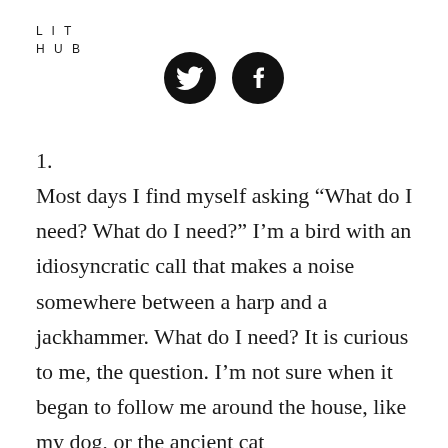LIT
HUB
[Figure (logo): Two circular social media icons: Twitter bird icon and Facebook 'f' icon, both black circles with white symbols]
1.
Most days I find myself asking “What do I need? What do I need?” I’m a bird with an idiosyncratic call that makes a noise somewhere between a harp and a jackhammer. What do I need? It is curious to me, the question. I’m not sure when it began to follow me around the house, like my dog, or the ancient cat